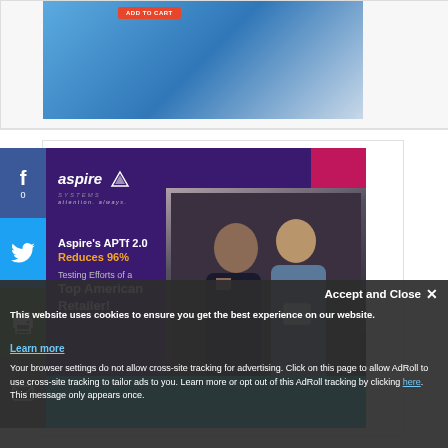[Figure (illustration): E-commerce / shopping illustration with 'ADD TO CART' button, phone, and clothing items on blue/grey background]
[Figure (infographic): Aspire Systems ad banner: 'Aspire's APTf 2.0 Reduces 96% Testing Efforts of a Top American Retailer!' with logo and photo of two retail employees with a tablet]
This website uses cookies to ensure you get the best experience on our website.
Learn more
Accept and Close ✕
Your browser settings do not allow cross-site tracking for advertising. Click on this page to allow AdRoll to use cross-site tracking to tailor ads to you. Learn more or opt out of this AdRoll tracking by clicking here. This message only appears once.